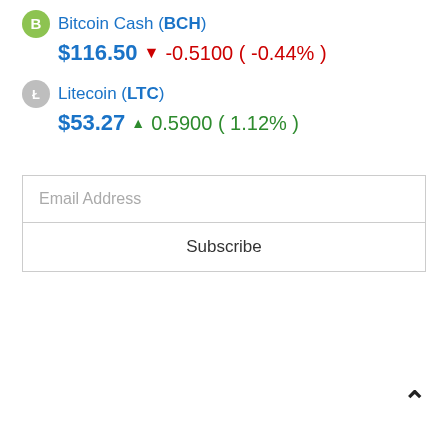Bitcoin Cash (BCH) $116.50 ▼ -0.5100 ( -0.44% )
Litecoin (LTC) $53.27 ▲ 0.5900 ( 1.12% )
Email Address
Subscribe